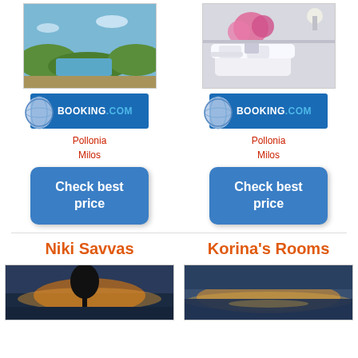[Figure (photo): Hotel outdoor area with pool and greenery, Pollonia Milos]
[Figure (photo): Hotel interior with white sofa and pink flowers, Pollonia Milos]
[Figure (logo): Booking.com logo badge with globe icon]
[Figure (logo): Booking.com logo badge with globe icon]
Pollonia
Milos
Pollonia
Milos
Check best price
Check best price
Niki Savvas
Korina's Rooms
[Figure (photo): Sunset with tree silhouette, Niki Savvas]
[Figure (photo): Coastal sunset view, Korina's Rooms]